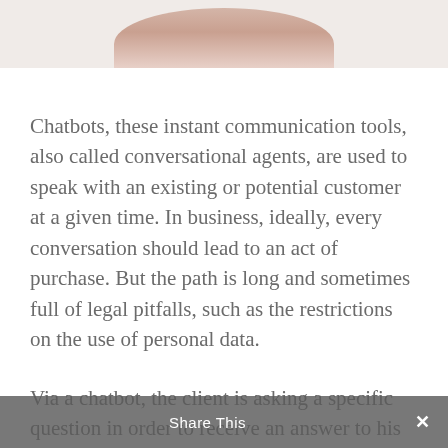[Figure (photo): Partial image of a person/chatbot illustration visible at the top of the page, cropped]
Chatbots, these instant communication tools, also called conversational agents, are used to speak with an existing or potential customer at a given time. In business, ideally, every conversation should lead to an act of purchase. But the path is long and sometimes full of legal pitfalls, such as the restrictions on the use of personal data.
Via a chatbot, the client is asking a specific question in order to receive an answer to his request. By using a chatbot,
Share This ✕